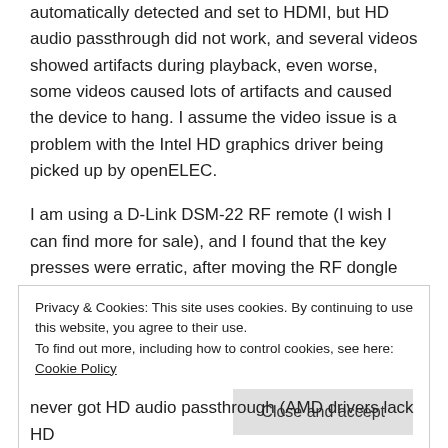automatically detected and set to HDMI, but HD audio passthrough did not work, and several videos showed artifacts during playback, even worse, some videos caused lots of artifacts and caused the device to hang. I assume the video issue is a problem with the Intel HD graphics driver being picked up by openELEC.
I am using a D-Link DSM-22 RF remote (I wish I can find more for sale), and I found that the key presses were erratic, after moving the RF dongle from a rear USB port to the front USB port, everything worked fine. I assume there is some interference near the back of the unit.
Privacy & Cookies: This site uses cookies. By continuing to use this website, you agree to their use.
To find out more, including how to control cookies, see here: Cookie Policy
[Close and accept button]
never got HD audio passthrough (AMD drivers lack HD